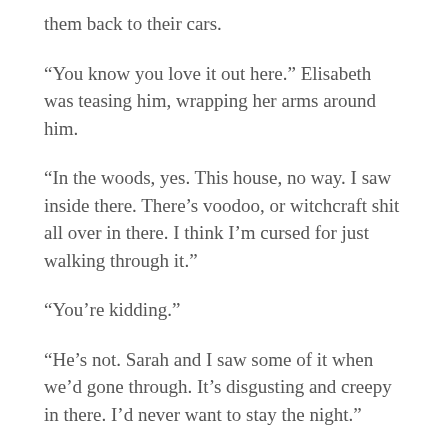them back to their cars.
“You know you love it out here.” Elisabeth was teasing him, wrapping her arms around him.
“In the woods, yes. This house, no way. I saw inside there. There’s voodoo, or witchcraft shit all over in there. I think I’m cursed for just walking through it.”
“You’re kidding.”
“He’s not. Sarah and I saw some of it when we’d gone through. It’s disgusting and creepy in there. I’d never want to stay the night.”
Elisabeth studied the two of them as they stood to look back at the house. In the woods, something rushed through some of the underbrush, and it was